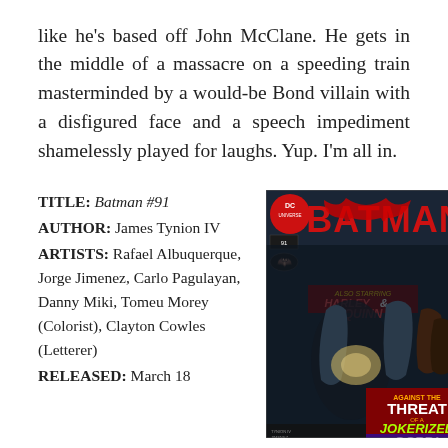like he's based off John McClane. He gets in the middle of a massacre on a speeding train masterminded by a would-be Bond villain with a disfigured face and a speech impediment shamelessly played for laughs. Yup. I'm all in.
TITLE: Batman #91
AUTHOR: James Tynion IV
ARTISTS: Rafael Albuquerque, Jorge Jimenez, Carlo Pagulayan, Danny Miki, Tomeu Morey (Colorist), Clayton Cowles (Letterer)
RELEASED: March 18
[Figure (illustration): Batman #91 comic book cover featuring Batman and other characters. DC Universe logo in top left. Title reads BATMAN in large red letters. Tagline reads AGAINST THE THREAT OF A JOKERIZED GCPD! Also shows ALSO STARRING HARLEY QUINN banner.]